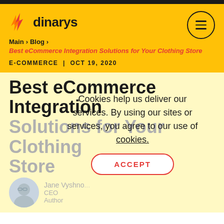dinarys
Main > Blog > Best eCommerce Integration Solutions for Your Clothing Store
E-COMMERCE | OCT 19, 2020
Best eCommerce Integration Solutions for Your Clothing Store
Cookies help us deliver our services. By using our sites or services, you agree to our use of cookies.
ACCEPT
Jane Vyshno... CEO Author